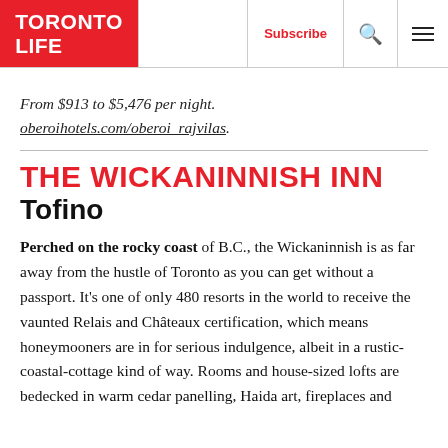TORONTO LIFE
From $913 to $5,476 per night. oberoihotels.com/oberoi_rajvilas.
THE WICKANINNISH INN
Tofino
Perched on the rocky coast of B.C., the Wickaninnish is as far away from the hustle of Toronto as you can get without a passport. It's one of only 480 resorts in the world to receive the vaunted Relais and Châteaux certification, which means honeymooners are in for serious indulgence, albeit in a rustic-coastal-cottage kind of way. Rooms and house-sized lofts are bedecked in warm cedar panelling, Haida art, fireplaces and